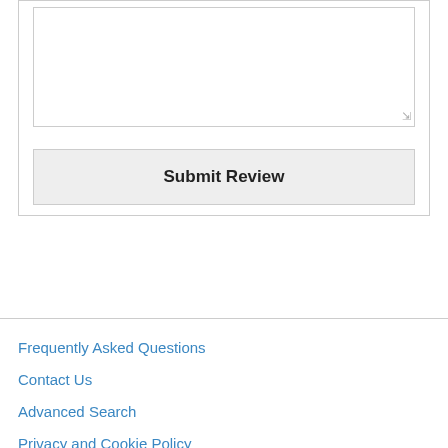[Figure (other): A form section with a textarea input box and a Submit Review button]
Frequently Asked Questions
Contact Us
Advanced Search
Privacy and Cookie Policy